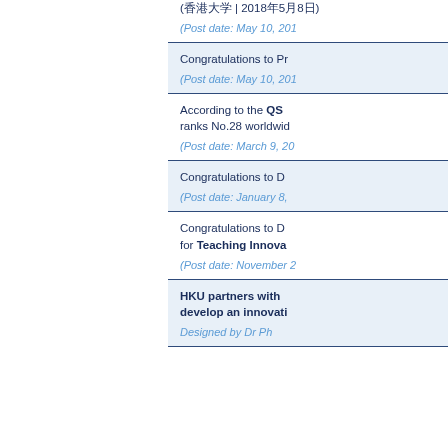(香港大学 | 2018年5月8日)
(Post date: May 10, 201...)
Congratulations to Pr...
(Post date: May 10, 201...)
According to the QS ranks No.28 worldwid...
(Post date: March 9, 20...)
Congratulations to D...
(Post date: January 8, ...)
Congratulations to D... for Teaching Innova...
(Post date: November 2...)
HKU partners with develop an innovati...
Designed by Dr Ph...